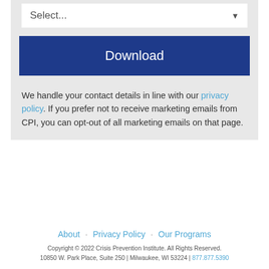[Figure (screenshot): A dropdown select box with placeholder text 'Select...' and a downward arrow indicator, on a light gray background]
[Figure (screenshot): A dark navy blue Download button]
We handle your contact details in line with our privacy policy. If you prefer not to receive marketing emails from CPI, you can opt-out of all marketing emails on that page.
About · Privacy Policy · Our Programs
Copyright © 2022 Crisis Prevention Institute. All Rights Reserved.
10850 W. Park Place, Suite 250 | Milwaukee, WI 53224 | 877.877.5390